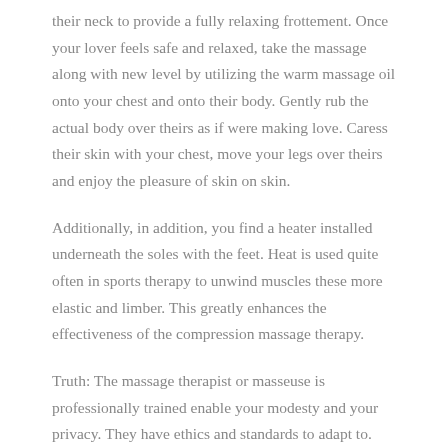their neck to provide a fully relaxing frottement. Once your lover feels safe and relaxed, take the massage along with new level by utilizing the warm massage oil onto your chest and onto their body. Gently rub the actual body over theirs as if were making love. Caress their skin with your chest, move your legs over theirs and enjoy the pleasure of skin on skin.
Additionally, in addition, you find a heater installed underneath the soles with the feet. Heat is used quite often in sports therapy to unwind muscles these more elastic and limber. This greatly enhances the effectiveness of the compression massage therapy.
Truth: The massage therapist or masseuse is professionally trained enable your modesty and your privacy. They have ethics and standards to adapt to. Possess have enjoyed the experience with the intent on teaching your loved one or spouse how to give a massage in the privacy of one's home include an all new outlook on being easy. Remember touch is personal, but you